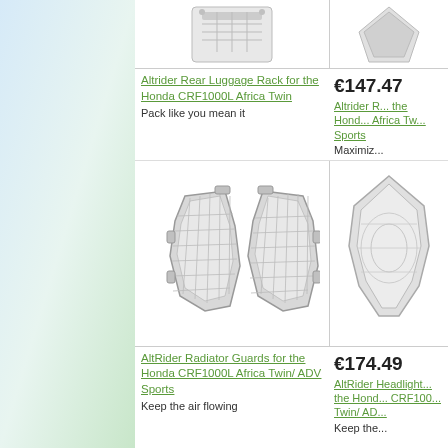[Figure (photo): Altrider Rear Luggage Rack product image (top, partially cropped)]
[Figure (photo): Second product image (top right, partially cropped)]
Altrider Rear Luggage Rack for the Honda CRF1000L Africa Twin
€147.47
Altrider R... the Hond... Africa Tw... Sports
Pack like you mean it
Maximiz...
[Figure (photo): AltRider Radiator Guards for the Honda CRF1000L Africa Twin / ADV Sports - two silver mesh guards]
[Figure (photo): AltRider Headlight Guard partial image on right side]
AltRider Radiator Guards for the Honda CRF1000L Africa Twin/ ADV Sports
€174.49
AltRider Headlight... the Hond... CRF100... Twin/ AD...
Keep the air flowing
Keep the...